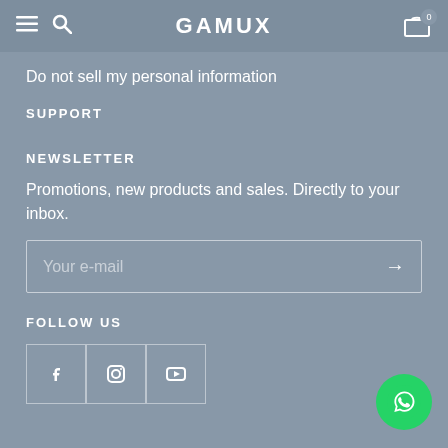GAMUX
Do not sell my personal information
SUPPORT
NEWSLETTER
Promotions, new products and sales. Directly to your inbox.
Your e-mail
FOLLOW US
[Figure (other): Social media icons: Facebook, Instagram, YouTube in outlined square boxes]